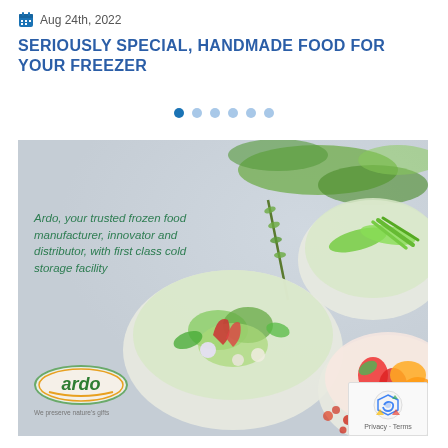Aug 24th, 2022
SERIOUSLY SPECIAL, HANDMADE FOOD FOR YOUR FREEZER
[Figure (other): Carousel navigation dots — one filled blue dot followed by five lighter blue dots indicating a slideshow with 6 slides]
[Figure (photo): Ardo branded advertisement image showing bowls of mixed frozen vegetables and mixed frozen fruits on a light grey background, with italic green text reading 'Ardo, your trusted frozen food manufacturer, innovator and distributor, with first class cold storage facility' and the Ardo logo with tagline 'We preserve nature's gifts' at bottom left. A reCAPTCHA badge appears at bottom right.]